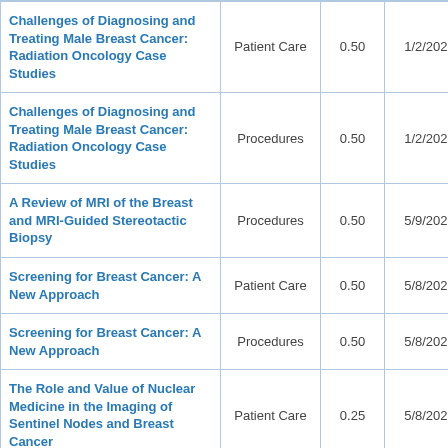|  |  |  |  |
| --- | --- | --- | --- |
| Challenges of Diagnosing and Treating Male Breast Cancer: Radiation Oncology Case Studies | Patient Care | 0.50 | 1/2/2023 |
| Challenges of Diagnosing and Treating Male Breast Cancer: Radiation Oncology Case Studies | Procedures | 0.50 | 1/2/2023 |
| A Review of MRI of the Breast and MRI-Guided Stereotactic Biopsy | Procedures | 0.50 | 5/9/2023 |
| Screening for Breast Cancer: A New Approach | Patient Care | 0.50 | 5/8/2023 |
| Screening for Breast Cancer: A New Approach | Procedures | 0.50 | 5/8/2023 |
| The Role and Value of Nuclear Medicine in the Imaging of Sentinel Nodes and Breast Cancer | Patient Care | 0.25 | 5/8/2023 |
| The Role and Value of Nuclear Medicine in the Imaging of Sentinel Nodes | Procedures | 0.75 | 5/8/2023 |